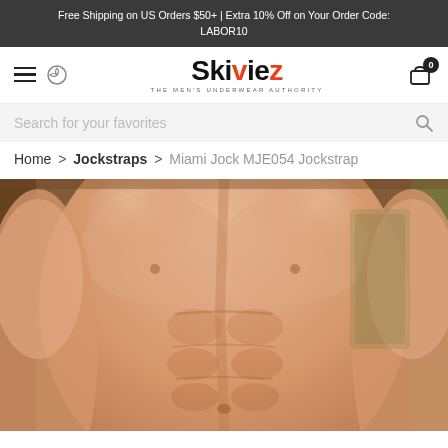Free Shipping on US Orders $50+ | Extra 10% Off on Your Order Code: LABOR10
[Figure (logo): Skiviez logo - The Men's Underwear Authority]
Search for your favorites
Home > Jockstraps > Miami Jock MJE054 Jockstrap
[Figure (photo): Product photo showing athletic male torso wearing Miami Jock MJE054 Jockstrap]